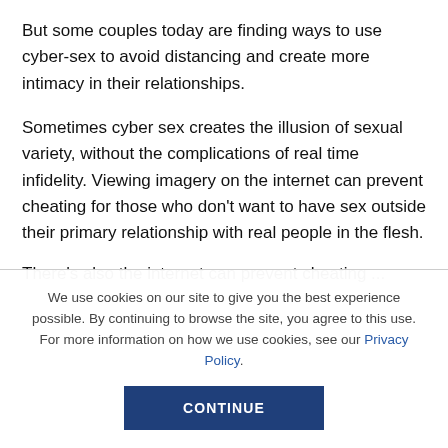But some couples today are finding ways to use cyber-sex to avoid distancing and create more intimacy in their relationships.
Sometimes cyber sex creates the illusion of sexual variety, without the complications of real time infidelity. Viewing imagery on the internet can prevent cheating for those who don't want to have sex outside their primary relationship with real people in the flesh.
There's also the...
We use cookies on our site to give you the best experience possible. By continuing to browse the site, you agree to this use. For more information on how we use cookies, see our Privacy Policy.
CONTINUE